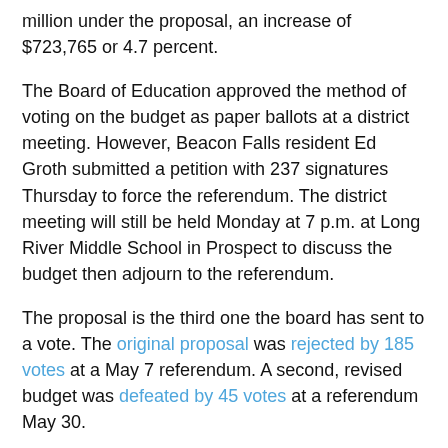million under the proposal, an increase of $723,765 or 4.7 percent.
The Board of Education approved the method of voting on the budget as paper ballots at a district meeting. However, Beacon Falls resident Ed Groth submitted a petition with 237 signatures Thursday to force the referendum. The district meeting will still be held Monday at 7 p.m. at Long River Middle School in Prospect to discuss the budget then adjourn to the referendum.
The proposal is the third one the board has sent to a vote. The original proposal was rejected by 185 votes at a May 7 referendum. A second, revised budget was defeated by 45 votes at a referendum May 30.
Both machine votes were forced by petitions.